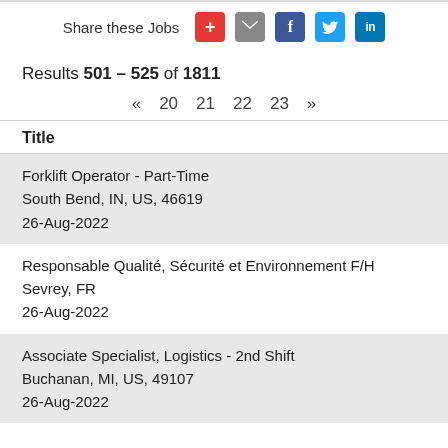Share these Jobs
Results 501 – 525 of 1811
« 20 21 22 23 »
Title
Forklift Operator - Part-Time
South Bend, IN, US, 46619
26-Aug-2022
Responsable Qualité, Sécurité et Environnement F/H
Sevrey, FR
26-Aug-2022
Associate Specialist, Logistics - 2nd Shift
Buchanan, MI, US, 49107
26-Aug-2022